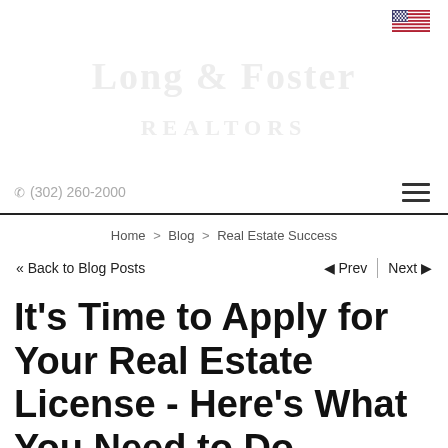[Figure (logo): Real estate company logo and branding area with phone number (302) 260-2000 and hamburger menu icon, US flag in top right]
Home > Blog > Real Estate Success
<< Back to Blog Posts   < Prev  |  Next >
It's Time to Apply for Your Real Estate License - Here's What You Need to Do